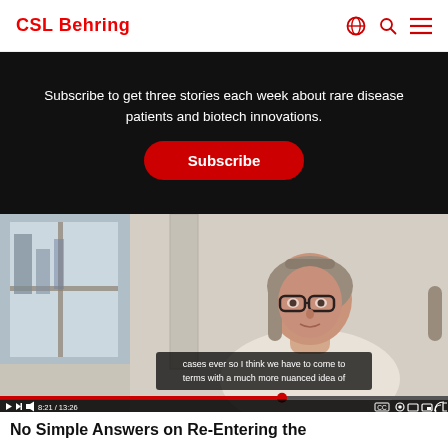CSL Behring
Subscribe to get three stories each week about rare disease patients and biotech innovations.
Subscribe
[Figure (photo): Video thumbnail of a middle-aged woman with short gray-brown hair and glasses, wearing a white lace top, sitting in an office or conference room with a city view window behind her. Video subtitle text reads: 'cases ever so I think we have to come to terms with a much more nuanced idea of'. Video progress bar shows 8:21 / 13:26.]
No Simple Answers on Re-Entering the